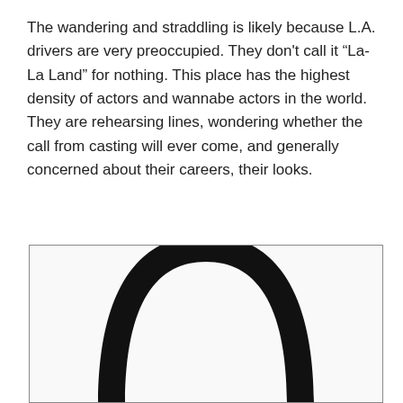The wandering and straddling is likely because L.A. drivers are very preoccupied. They don't call it “La-La Land” for nothing. This place has the highest density of actors and wannabe actors in the world. They are rehearsing lines, wondering whether the call from casting will ever come, and generally concerned about their careers, their looks.
[Figure (illustration): A partially visible illustration showing the top portion of a large bold letter or figure in black, cropped at the bottom of the page within a rectangular border.]